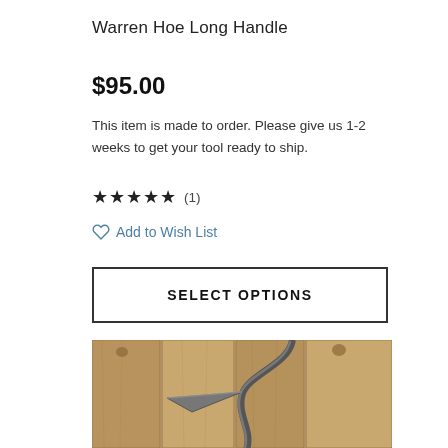Warren Hoe Long Handle
$95.00
This item is made to order. Please give us 1-2 weeks to get your tool ready to ship.
★★★★★ (1)
♡ Add to Wish List
SELECT OPTIONS
[Figure (photo): Photo of a Warren Hoe with a long curved metal handle leaning against wooden fence planks]